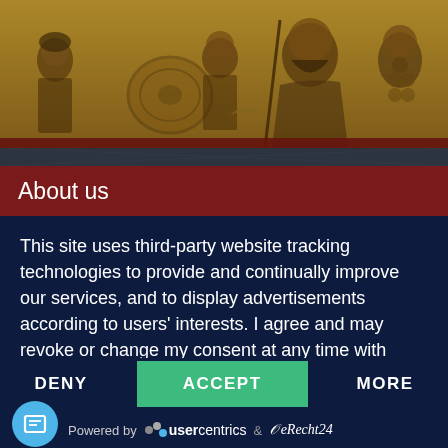[Figure (illustration): Ancient Roman mosaic or fresco showing several figures including soldiers and a bearded man in robes, in sepia/golden tones with a dark red border]
About us
This site uses third-party website tracking technologies to provide and continually improve our services, and to display advertisements according to users' interests. I agree and may revoke or change my consent at any time with effect for the future.
DENY | ACCEPT | MORE
Powered by usercentrics & eRecht24